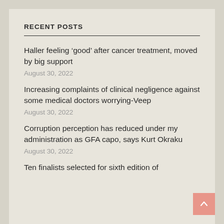RECENT POSTS
Haller feeling ‘good’ after cancer treatment, moved by big support
Increasing complaints of clinical negligence against some medical doctors worrying-Veep
Corruption perception has reduced under my administration as GFA capo, says Kurt Okraku
Ten finalists selected for sixth edition of